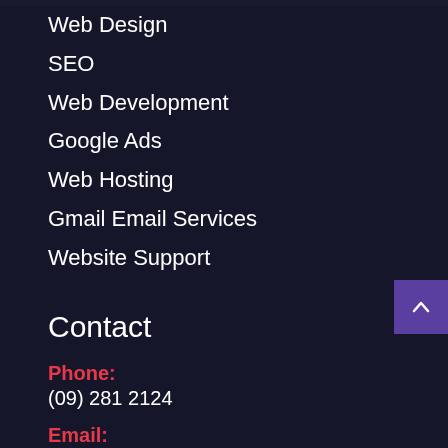Web Design
SEO
Web Development
Google Ads
Web Hosting
Gmail Email Services
Website Support
Contact
Phone:
(09) 281 2124
Email:
Email Judy
Social: